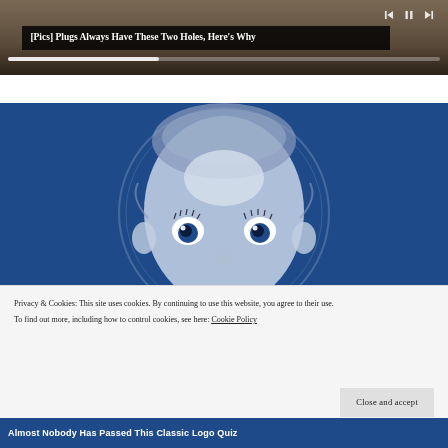[Figure (screenshot): Top portion of a video/media player strip with brownish background and media playback controls (skip back, pause, skip forward) in top right corner, and a progress bar near the bottom.]
[Pics] Plugs Always Have These Two Holes, Here's Why
[Figure (illustration): Blue background image featuring a stylized illustration of a baby's face (Gerber baby style) looking upward, rendered in white/blue tones on dark blue background, within a circular frame.]
Privacy & Cookies: This site uses cookies. By continuing to use this website, you agree to their use. To find out more, including how to control cookies, see here: Cookie Policy
Almost Nobody Has Passed This Classic Logo Quiz